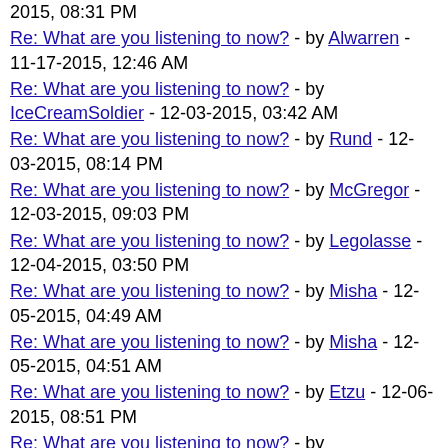2015, 08:31 PM
Re: What are you listening to now? - by Alwarren - 11-17-2015, 12:46 AM
Re: What are you listening to now? - by IceCreamSoldier - 12-03-2015, 03:42 AM
Re: What are you listening to now? - by Rund - 12-03-2015, 08:14 PM
Re: What are you listening to now? - by McGregor - 12-03-2015, 09:03 PM
Re: What are you listening to now? - by Legolasse - 12-04-2015, 03:50 PM
Re: What are you listening to now? - by Misha - 12-05-2015, 04:49 AM
Re: What are you listening to now? - by Misha - 12-05-2015, 04:51 AM
Re: What are you listening to now? - by Etzu - 12-06-2015, 08:51 PM
Re: What are you listening to now? - by UnNamedGER - 12-07-2015, 09:44 PM
Re: What are you listening to now? - by Misha - 01-06-2016, 03:37 PM
Re: What are you listening to now? - by IceCreamSoldier - 01-07-2016, 03:39 AM
Major Tom take off - by Horus - 01-11-2016, 11:33 AM
Re: What are you listening to now? - by Misha - 01-11-2016